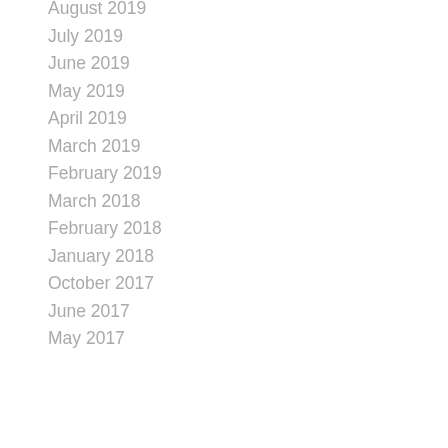August 2019
July 2019
June 2019
May 2019
April 2019
March 2019
February 2019
March 2018
February 2018
January 2018
October 2017
June 2017
May 2017